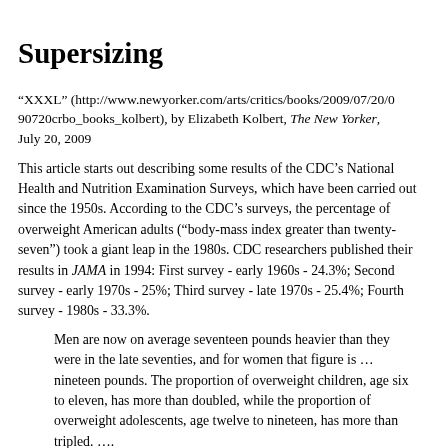Supersizing
“XXXL” (http://www.newyorker.com/arts/critics/books/2009/07/20/090720crbo_books_kolbert), by Elizabeth Kolbert, The New Yorker, July 20, 2009
This article starts out describing some results of the CDC’s National Health and Nutrition Examination Surveys, which have been carried out since the 1950s. According to the CDC’s surveys, the percentage of overweight American adults (“body-mass index greater than twenty-seven”) took a giant leap in the 1980s. CDC researchers published their results in JAMA in 1994: First survey - early 1960s - 24.3%; Second survey - early 1970s - 25%; Third survey - late 1970s - 25.4%; Fourth survey - 1980s - 33.3%.
Men are now on average seventeen pounds heavier than they were in the late seventies, and for women that figure is … nineteen pounds. The proportion of overweight children, age six to eleven, has more than doubled, while the proportion of overweight adolescents, age twelve to nineteen, has more than tripled. ….
“If this was about tuberculosis, it would be called an epidemic,” another researcher wrote in an editorial